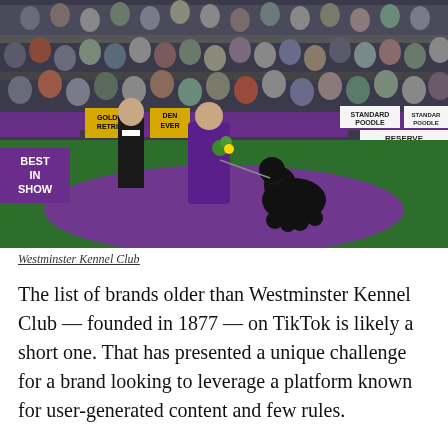[Figure (photo): Westminster Kennel Club dog show: a woman in a purple dress presenting a black Standard Poodle on a green arena floor, a man in a tuxedo walking beside them, surrounded by a large crowd of spectators. Ringside signs read 'BEST IN SHOW', 'GOLDEN RETRIEVER', 'STANDARD POODLE', 'RESERVE BEST'. Purple and gold banners visible around the ring.]
Westminster Kennel Club
The list of brands older than Westminster Kennel Club — founded in 1877 — on TikTok is likely a short one. That has presented a unique challenge for a brand looking to leverage a platform known for user-generated content and few rules.